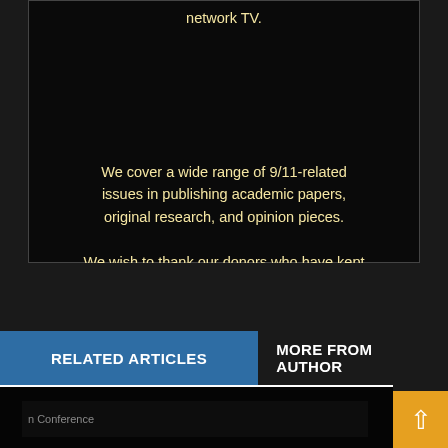network TV.
We cover a wide range of 9/11-related issues in publishing academic papers, original research, and opinion pieces.
We wish to thank our donors who have kept us on the web since 2004! We appreciate your continued support!
We continue to update the website to make the nearly 3000 articles easier to find, read and share. Thanks for visiting us!
RELATED ARTICLES
MORE FROM AUTHOR
n Conference